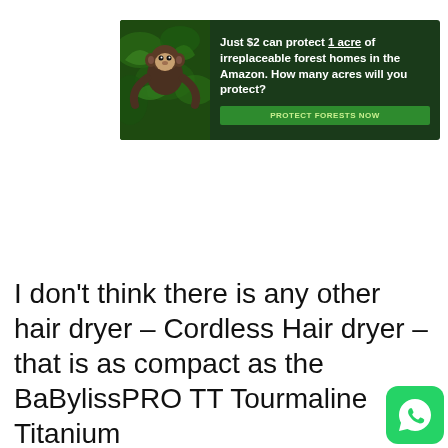[Figure (infographic): Banner advertisement: dark green/forest background with monkey image on left, text 'Just $2 can protect 1 acre of irreplaceable forest homes in the Amazon. How many acres will you protect?' and a green button 'PROTECT FORESTS NOW']
I don't think there is any other hair dryer – Cordless Hair dryer – that is as compact as the BaBylissPRO TT Tourmaline Titanium
[Figure (infographic): Yahoo Search sponsored ad block with 'Search for' header, item 1: 'TOP BANK CD RATES', item 2: 'BEST BANK FOR A SAVINGS ACCOUNT', footer: 'Yahoo! Search | Sponsored']
[Figure (logo): WhatsApp green app icon in bottom right corner]